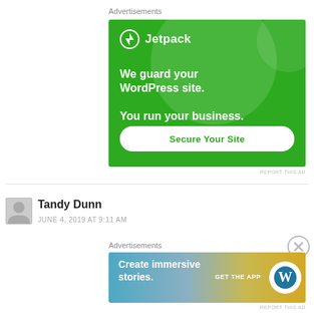Advertisements
[Figure (illustration): Jetpack advertisement banner: green background with large decorative circles, Jetpack logo, text 'We guard your WordPress site. You run your business.' and a 'Secure Your Site' button]
REPORT THIS AD
Tandy Dunn
JUNE 4, 2019 AT 9:11 AM
Advertisements
[Figure (illustration): WordPress app advertisement banner: gradient blue-to-yellow background, text 'Create immersive stories.', 'GET THE APP' with WordPress logo]